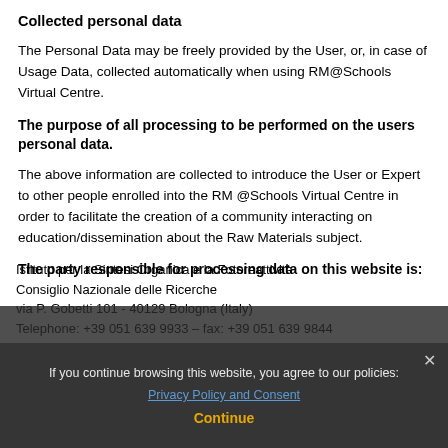Collected personal data
The Personal Data may be freely provided by the User, or, in case of Usage Data, collected automatically when using RM@Schools Virtual Centre.
The purpose of all processing to be performed on the users personal data.
The above information are collected to introduce the User or Expert to other people enrolled into the RM @Schools Virtual Centre in order to facilitate the creation of a community interacting on education/dissemination about the Raw Materials subject.
The party responsible for processing data on this website is:
Istituto per la Sintesi Organica e la Fotoreattività
Consiglio Nazionale delle Ricerche
via P. Gobetti 101 - 40129 Bologna (Italy)
Telephone: +39 051 639 9933 – fax: +39 051 639 9844
If you continue browsing this website, you agree to our policies:
Privacy Policy and Consent
Continue